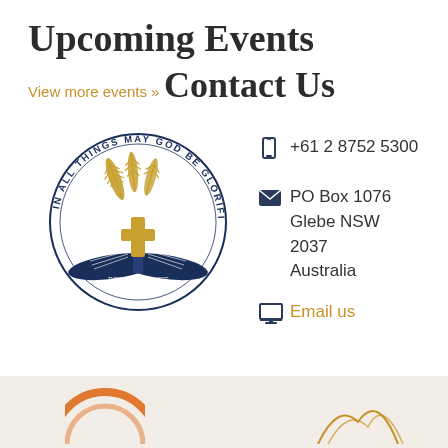Upcoming Events
View more events »
Contact Us
[Figure (logo): Circular logo with text 'IN ALL THINGS MAY GOD BE GLORIFIED' around the border, featuring an open book with a cross and golden wheat/feather motif in the center]
+61 2 8752 5300
PO Box 1076
Glebe NSW 2037
Australia
Email us